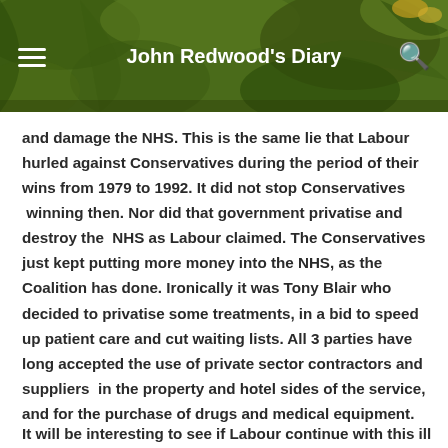John Redwood's Diary
and damage the NHS. This is the same lie that Labour hurled against Conservatives during the period of their wins from 1979 to 1992. It did not stop Conservatives  winning then. Nor did that government privatise and destroy the  NHS as Labour claimed. The Conservatives just kept putting more money into the NHS, as the Coalition has done. Ironically it was Tony Blair who decided to privatise some treatments, in a bid to speed up patient care and cut waiting lists. All 3 parties have long accepted the use of private sector contractors and suppliers  in the property and hotel sides of the service, and for the purchase of drugs and medical equipment.
It will be interesting to see if Labour continue with this ill